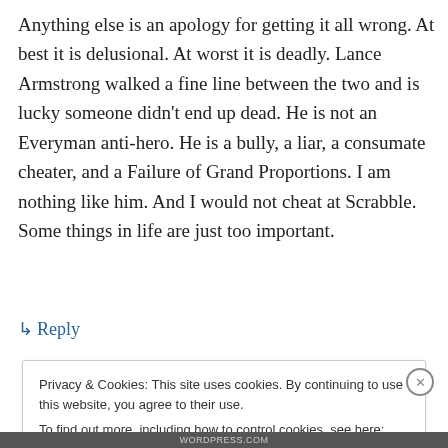Anything else is an apology for getting it all wrong. At best it is delusional. At worst it is deadly. Lance Armstrong walked a fine line between the two and is lucky someone didn't end up dead. He is not an Everyman anti-hero. He is a bully, a liar, a consumate cheater, and a Failure of Grand Proportions. I am nothing like him. And I would not cheat at Scrabble. Some things in life are just too important.
↳ Reply
Privacy & Cookies: This site uses cookies. By continuing to use this website, you agree to their use.
To find out more, including how to control cookies, see here: Cookie Policy
Close and accept
WORDPRESS.COM